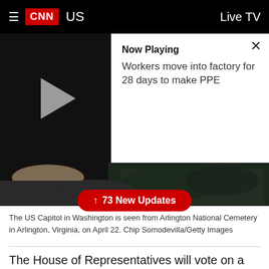CNN  US  Live TV
[Figure (screenshot): Video player showing now playing panel with play button on left dark background and white panel on right. Now Playing label with description: Workers move into factory for 28 days to make PPE. Close X button in top right.]
[Figure (photo): Aerial or distant view of dark landscape, showing the US Capitol area]
73 New Updates
The US Capitol in Washington is seen from Arlington National Cemetery in Arlington, Virginia, on April 22. Chip Somodevilla/Getty Images
The House of Representatives will vote on a roughly $480 billion coronavirus relief package later today.
The bill will deliver aid to small businesses and hospitals and expand Covid-19 testing.
The measure passed the Senate on Tuesday and will go